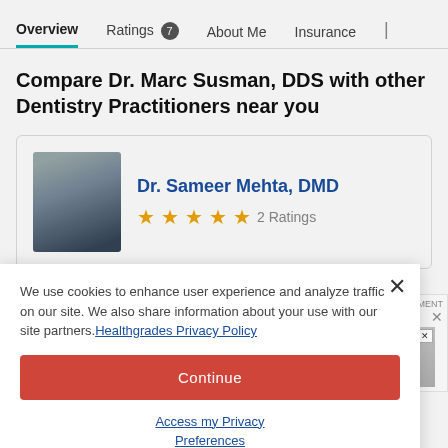Overview | Ratings 7 | About Me | Insurance |
Compare Dr. Marc Susman, DDS with other Dentistry Practitioners near you
Dr. Sameer Mehta, DMD
★★★★★ 2 Ratings
We use cookies to enhance user experience and analyze traffic on our site. We also share information about your use with our site partners. Healthgrades Privacy Policy
Continue
Access my Privacy Preferences